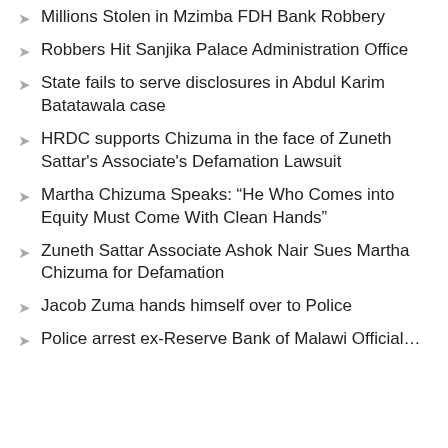Millions Stolen in Mzimba FDH Bank Robbery
Robbers Hit Sanjika Palace Administration Office
State fails to serve disclosures in Abdul Karim Batatawala case
HRDC supports Chizuma in the face of Zuneth Sattar's Associate's Defamation Lawsuit
Martha Chizuma Speaks: “He Who Comes into Equity Must Come With Clean Hands”
Zuneth Sattar Associate Ashok Nair Sues Martha Chizuma for Defamation
Jacob Zuma hands himself over to Police
Police arrest ex-Reserve Bank of Malawi Official…